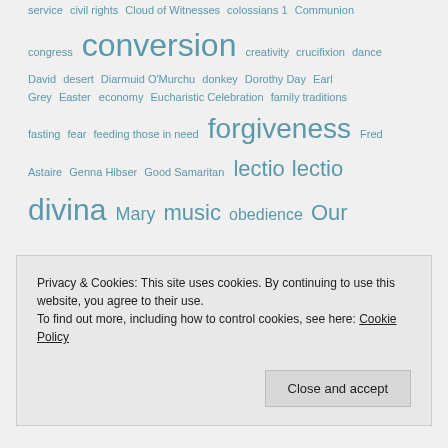service civil rights Cloud of Witnesses colossians 1 Communion congress conversion creativity crucifixion dance David desert Diarmuid O'Murchu donkey Dorothy Day Earl Grey Easter economy Eucharistic Celebration family traditions fasting fear feeding those in need forgiveness Fred Astaire Genna Hibser Good Samaritan lectio lectio divina Mary music obedience Our
Privacy & Cookies: This site uses cookies. By continuing to use this website, you agree to their use. To find out more, including how to control cookies, see here: Cookie Policy